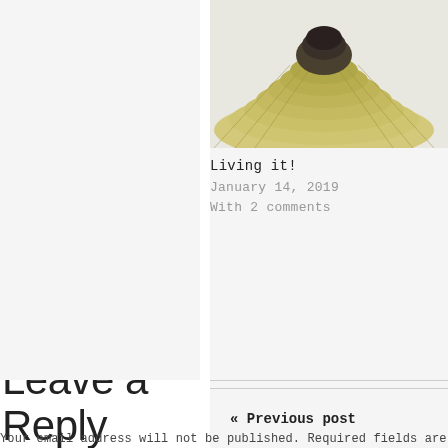[Figure (photo): Photo of what appears to be a cabbage or artichoke cross-section with layered leaves and dark top, on light background]
Living it!
January 14, 2019
With 2 comments
« Previous post
Leave a Reply
Your email address will not be published. Required fields are ma